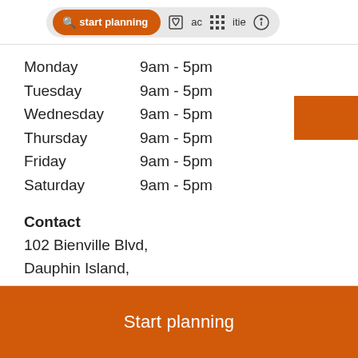Start planning  activities
Monday    9am - 5pm
Tuesday    9am - 5pm
Wednesday    9am - 5pm
Thursday    9am - 5pm
Friday    9am - 5pm
Saturday    9am - 5pm
Contact
102 Bienville Blvd,
Dauphin Island,
AL 36528,
USA
+1 251-861-7500
Start planning